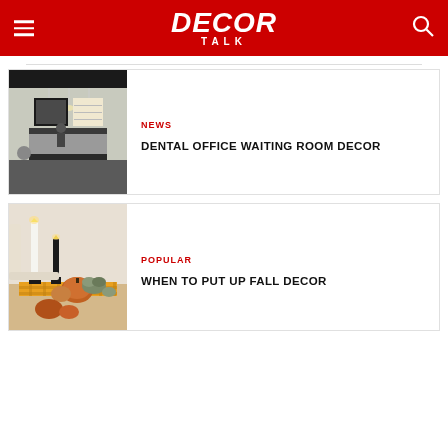DECOR TALK
[Figure (photo): Dental office waiting room with reception desk, lighting, and modern interior]
NEWS
DENTAL OFFICE WAITING ROOM DECOR
[Figure (photo): Fall table decor with candles, pumpkins, and plaid runner]
POPULAR
WHEN TO PUT UP FALL DECOR